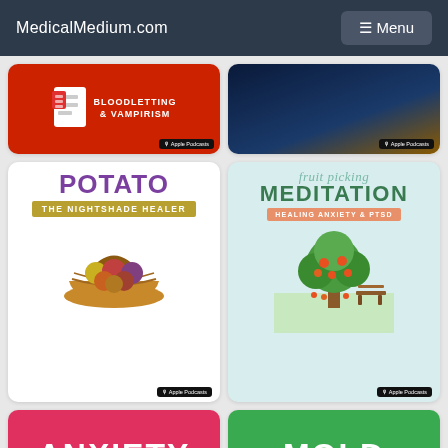MedicalMedium.com  ☰ Menu
[Figure (illustration): Podcast thumbnail: red background with document icon and text BLOODLETTING & VAMPIRISM, Apple Podcasts badge]
[Figure (illustration): Podcast thumbnail: dark night sky background with Apple Podcasts badge]
[Figure (illustration): Podcast thumbnail: white background, POTATO THE NIGHTSHADE HEALER in purple and gold, basket of vegetables illustration, Apple Podcasts badge]
[Figure (illustration): Podcast thumbnail: light teal background, fruit picking MEDITATION HEALING ANXIETY & PTSD, fruit tree with bench illustration, Apple Podcasts badge]
[Figure (illustration): Podcast thumbnail: pink-red background with white text ANXIETY (partially visible)]
[Figure (illustration): Podcast thumbnail: green background with white text MOLD (partially visible)]